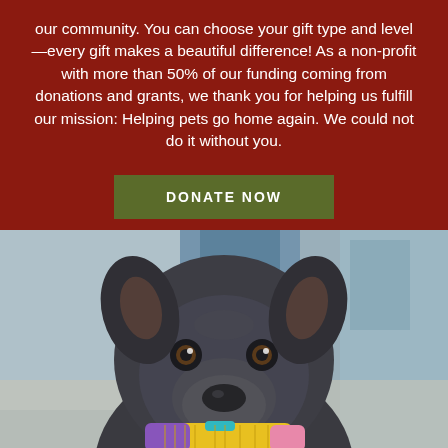our community. You can choose your gift type and level—every gift makes a beautiful difference! As a non-profit with more than 50% of our funding coming from donations and grants, we thank you for helping us fulfill our mission: Helping pets go home again. We could not do it without you.
DONATE NOW
[Figure (photo): Close-up photo of a dark grey/blue pit bull type dog holding a colorful toy (yellow, purple, and pink) in its mouth, looking up at the camera with an endearing expression. Background is blurred showing what appears to be a shelter or indoor environment.]